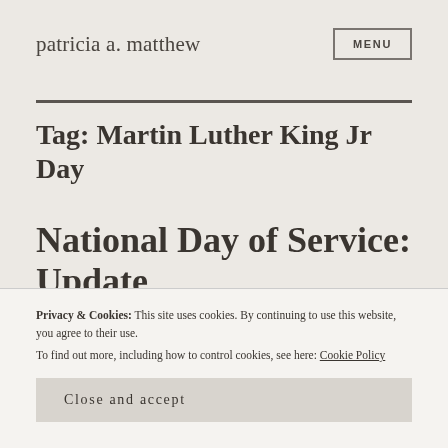patricia a. matthew
Tag: Martin Luther King Jr Day
National Day of Service: Update
Privacy & Cookies: This site uses cookies. By continuing to use this website, you agree to their use.
To find out more, including how to control cookies, see here: Cookie Policy
Close and accept